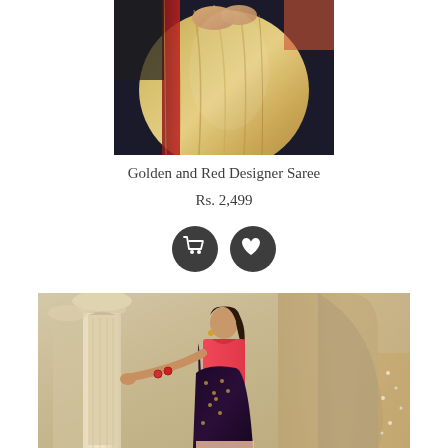[Figure (photo): Close-up photo of a golden and red designer saree being worn, showing the draped fabric with a red border and golden shimmer]
Golden and Red Designer Saree
Rs. 2,499
[Figure (infographic): Two dark circular buttons: a shopping cart icon and a heart/wishlist icon]
[Figure (photo): Woman wearing a dark navy/maroon saree with pink blouse and gold embroidery details, standing next to ornate white stone columns in a palace-like setting]